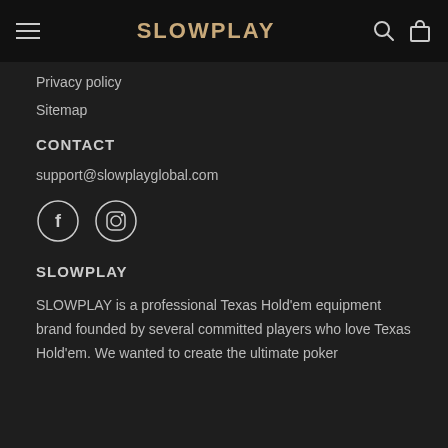SLOWPLAY
Privacy policy
Sitemap
CONTACT
support@slowplayglobal.com
[Figure (illustration): Facebook and Instagram social media icons (circle outlines with f and camera icons)]
SLOWPLAY
SLOWPLAY is a professional Texas Hold'em equipment brand founded by several committed players who love Texas Hold'em. We wanted to create the ultimate poker